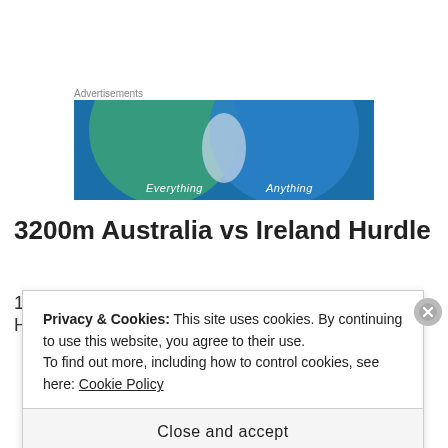Advertisements
[Figure (illustration): Advertisement banner with two overlapping circles (green and blue) on a blue background, with text 'Everything' and 'Anything' at the bottom.]
3200m Australia vs Ireland Hurdle
1
H
Privacy & Cookies: This site uses cookies. By continuing to use this website, you agree to their use.
To find out more, including how to control cookies, see here: Cookie Policy
Close and accept